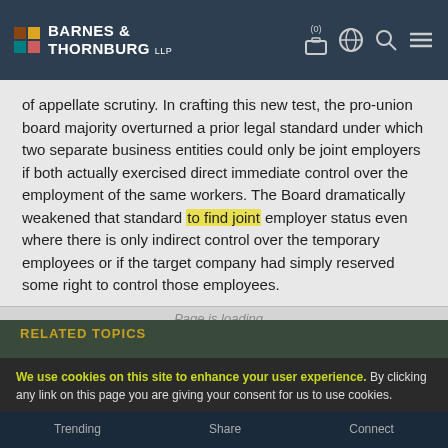Barnes & Thornburg LLP
of appellate scrutiny. In crafting this new test, the pro-union board majority overturned a prior legal standard under which two separate business entities could only be joint employers if both actually exercised direct immediate control over the employment of the same workers. The Board dramatically weakened that standard to find joint employer status even where there is only indirect control over the temporary employees or if the target company had simply reserved some right to control those employees.
Page is loading...
RELATED TOPICS
We use cookies on this site to enhance your user experience. By clicking any link on this page you are giving your consent for us to use cookies.
Joint employer
NLRB
Unions
TOP
View Our Privacy Policy
AGREE
Trending    Share    Connect